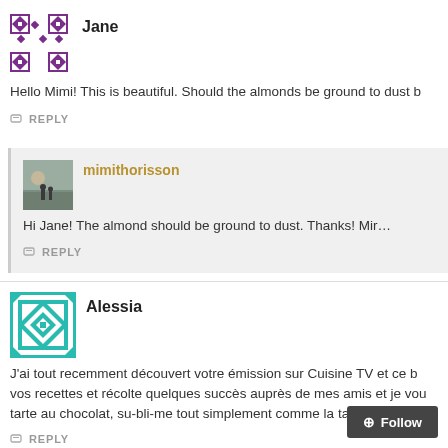Jane
Hello Mimi! This is beautiful. Should the almonds be ground to dust b…
REPLY
mimithorisson
Hi Jane! The almond should be ground to dust. Thanks! Mir…
REPLY
Alessia
J'ai tout recemment découvert votre émission sur Cuisine TV et ce b… vos recettes et récolte quelques succès auprès de mes amis et je vou… tarte au chocolat, su-bli-me tout simplement comme la tarte pommes-…
REPLY
Follow